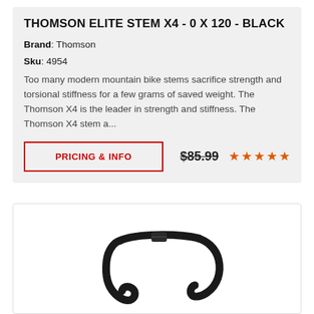THOMSON ELITE STEM X4 - 0 X 120 - BLACK
Brand: Thomson
Sku: 4954
Too many modern mountain bike stems sacrifice strength and torsional stiffness for a few grams of saved weight. The Thomson X4 is the leader in strength and stiffness. The Thomson X4 stem a...
PRICING & INFO
$85.99
[Figure (other): Five orange star rating icons]